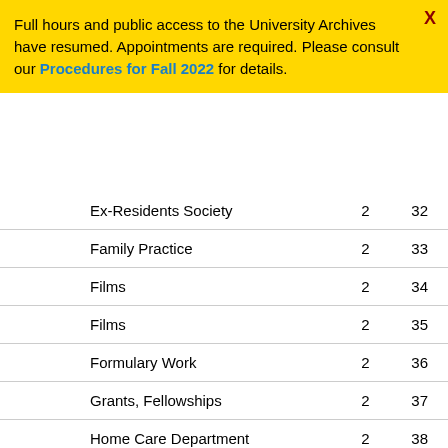Full hours and public access to the University Archives have resumed. Appointments are required. Please consult our Procedures for Fall 2022 for details.
| Ex-Residents Society | 2 | 32 |
| Family Practice | 2 | 33 |
| Films | 2 | 34 |
| Films | 2 | 35 |
| Formulary Work | 2 | 36 |
| Grants, Fellowships | 2 | 37 |
| Home Care Department | 2 | 38 |
| Hospital Council Report | 2 | 39 |
| Hospital Policy | 2 | 40 |
| House Bill | 2 | 41 |